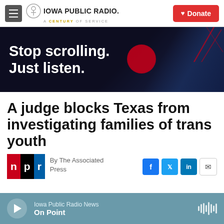Iowa Public Radio. A Century of Service | Donate
[Figure (illustration): Iowa Public Radio banner advertisement with text 'Stop scrolling. Just listen.' on a dark background with graphic design elements]
A judge blocks Texas from investigating families of trans youth
By The Associated Press
[Figure (logo): NPR logo with red, black, and blue letter blocks]
[Figure (screenshot): Social media share icons: Facebook, Twitter, LinkedIn, Email]
Iowa Public Radio News — On Point